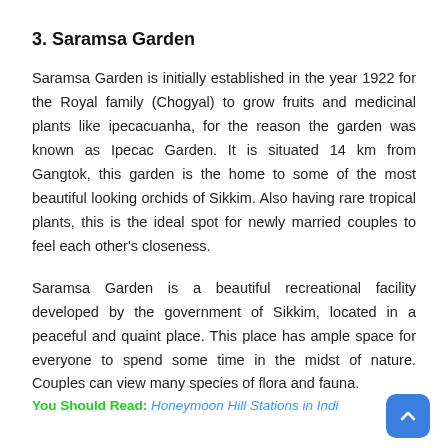3. Saramsa Garden
Saramsa Garden is initially established in the year 1922 for the Royal family (Chogyal) to grow fruits and medicinal plants like ipecacuanha, for the reason the garden was known as Ipecac Garden. It is situated 14 km from Gangtok, this garden is the home to some of the most beautiful looking orchids of Sikkim. Also having rare tropical plants, this is the ideal spot for newly married couples to feel each other's closeness.
Saramsa Garden is a beautiful recreational facility developed by the government of Sikkim, located in a peaceful and quaint place. This place has ample space for everyone to spend some time in the midst of nature. Couples can view many species of flora and fauna.
You Should Read: Honeymoon Hill Stations in India